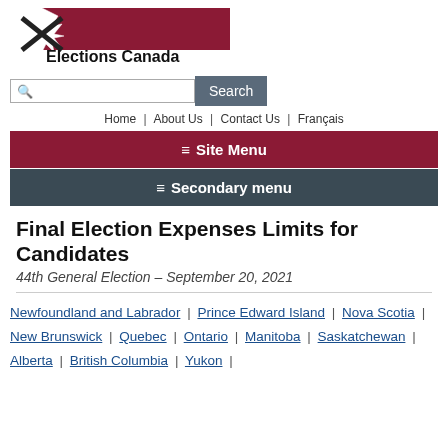[Figure (logo): Elections Canada logo with maple leaf and X mark, red banner, text 'Elections Canada']
Search [search bar] Search button
Home | About Us | Contact Us | Français
≡ Site Menu
≡ Secondary menu
Final Election Expenses Limits for Candidates
44th General Election – September 20, 2021
Newfoundland and Labrador | Prince Edward Island | Nova Scotia | New Brunswick | Quebec | Ontario | Manitoba | Saskatchewan | Alberta | British Columbia | Yukon |